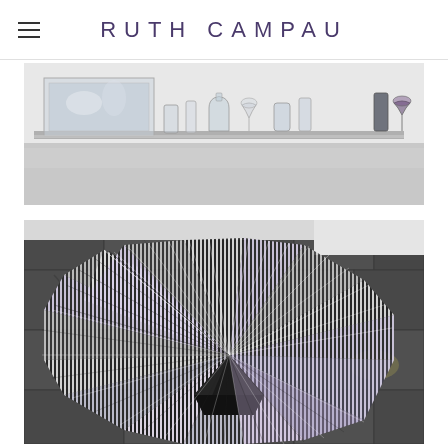RUTH CAMPAU
[Figure (photo): Gallery installation photograph showing glass and transparent objects arranged on a white shelf or table against a white wall. Various vessels, glasses, and reflective objects visible.]
[Figure (photo): Floor installation artwork photograph showing a geometric starburst or explosion pattern made of folded striped paper or material in black, white, and lavender tones, arranged on dark stone paving tiles. The piece appears three-dimensional, creating an optical illusion of depth.]